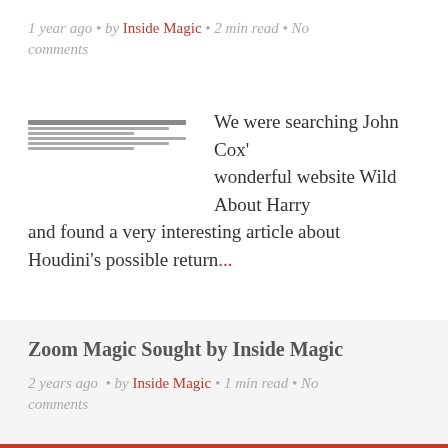1 year ago • by Inside Magic • 2 min read • No comments
[Figure (photo): Small thumbnail image of a document or newspaper clipping]
We were searching John Cox' wonderful website Wild About Harry and found a very interesting article about Houdini's possible return...
Zoom Magic Sought by Inside Magic
2 years ago • by Inside Magic • 1 min read • No comments